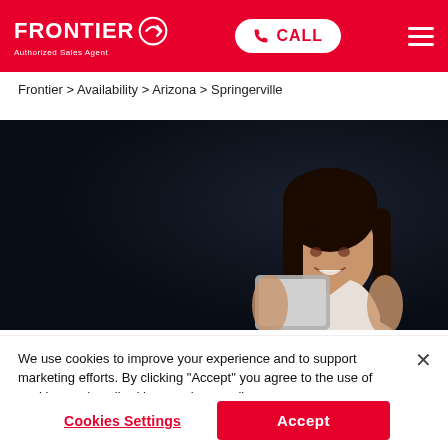FRONTIER Authorized Sales Agent | CALL | Menu
Frontier > Availability > Arizona > Springerville
[Figure (photo): Hero banner with dark background showing a smiling woman holding a tablet, wearing a white shirt]
We use cookies to improve your experience and to support marketing efforts. By clicking "Accept" you agree to the use of cookies as described in our privacy policy.
Cookies Settings | Accept